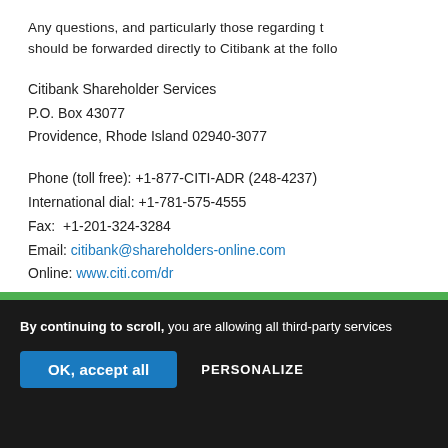Any questions, and particularly those regarding t should be forwarded directly to Citibank at the follo
Citibank Shareholder Services
P.O. Box 43077
Providence, Rhode Island 02940-3077
Phone (toll free): +1-877-CITI-ADR (248-4237)
International dial: +1-781-575-4555
Fax: +1-201-324-3284
Email: citibank@shareholders-online.com
Online: www.citi.com/dr
By continuing to scroll, you are allowing all third-party services